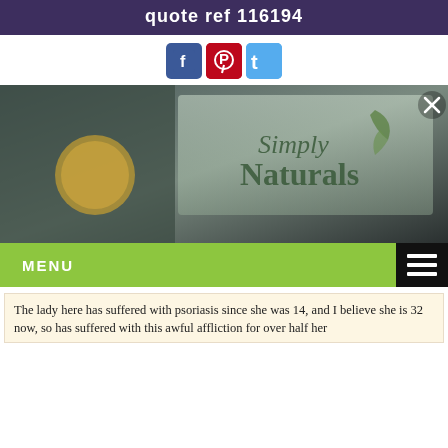quote ref 116194
[Figure (illustration): Social media icons: Facebook (blue), Pinterest (red), Twitter (cyan)]
[Figure (photo): Simply Naturals brand logo on a blurred dark background with a close button (X) in the top right corner]
MENU
The lady here has suffered with psoriasis since she was 14, and I believe she is 32 now, so has suffered with this awful affliction for over half her